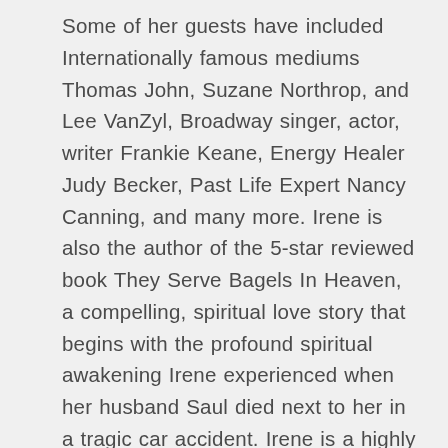Some of her guests have included Internationally famous mediums Thomas John, Suzane Northrop, and Lee VanZyl, Broadway singer, actor, writer Frankie Keane, Energy Healer Judy Becker, Past Life Expert Nancy Canning, and many more. Irene is also the author of the 5-star reviewed book They Serve Bagels In Heaven, a compelling, spiritual love story that begins with the profound spiritual awakening Irene experienced when her husband Saul died next to her in a tragic car accident. Irene is a highly sought-after public speaker whose spirited lectures have inspired and motivated audiences at conferences and spiritual get-togethers, as well as bookstores nationwide.